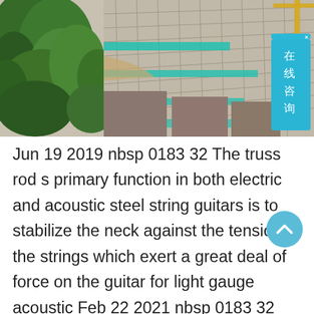[Figure (photo): Aerial view of a large construction site with green trees on the left side, showing concrete foundations, scaffolding, and a teal/green barrier. A blue chat bubble UI element with Chinese text '在线咨询' (online consultation) is overlaid in the top right corner.]
Jun 19 2019 nbsp 0183 32 The truss rod s primary function in both electric and acoustic steel string guitars is to stabilize the neck against the tension of the strings which exert a great deal of force on the guitar for light gauge acoustic Feb 22 2021 nbsp 0183 32 The truss rod is a threaded metal rod that sits inside the neck of your guitar under the fingerboard It runs from the headstock all the